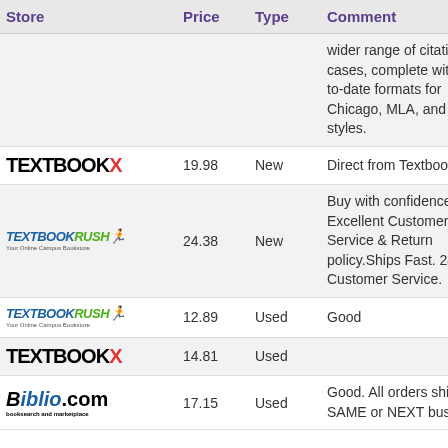| Store | Price | Type | Comment |
| --- | --- | --- | --- |
|  |  |  | wider range of citation cases, complete with up-to-date formats for Chicago, MLA, and APA styles. |
| TextbookX | 19.98 | New | Direct from TextbookX |
| TextbookRush | 24.38 | New | Buy with confidence. Excellent Customer Service & Return policy.Ships Fast. 24*7 Customer Service. |
| TextbookRush | 12.89 | Used | Good |
| TextbookX | 14.81 | Used |  |
| Biblio.com | 17.15 | Used | Good. All orders ship SAME or NEXT business |